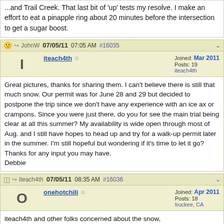...and Trail Creek. That last bit of 'up' tests my resolve. I make an effort to eat a pinapple ring about 20 minutes before the intersection to get a sugar boost.
Great pictures, thanks for sharing them. I can't believe there is still that much snow. Our permit was for June 28 and 29 but decided to postpone the trip since we don't have any experience with an ice ax or crampons. Since you were just there, do you for see the main trial being clear at all this summer? My availability is wide open through most of Aug. and I still have hopes to head up and try for a walk-up permit later in the summer. I'm still hopeful but wondering if it's time to let it go? Thanks for any input you may have.
Debbie
iteach4th and other folks concerned about the snow,